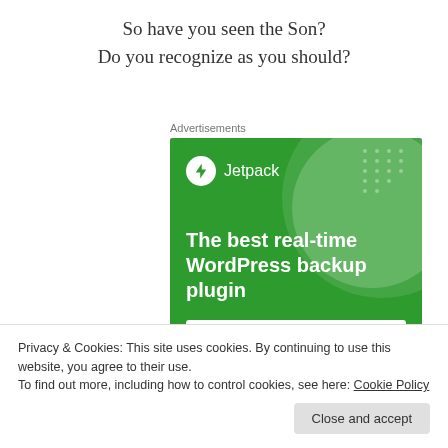So have you seen the Son?
Do you recognize as you should?
Advertisements
[Figure (screenshot): Jetpack advertisement banner: green background with circular decorative shapes and dot pattern. Shows Jetpack logo (white circle with lightning bolt icon) and text 'Jetpack'. Main text reads 'The best real-time WordPress backup plugin'. White button at bottom reads 'Back up your site' in green text.]
Privacy & Cookies: This site uses cookies. By continuing to use this website, you agree to their use.
To find out more, including how to control cookies, see here: Cookie Policy
Close and accept